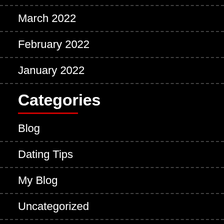March 2022
February 2022
January 2022
Categories
Blog
Dating Tips
My Blog
Uncategorized